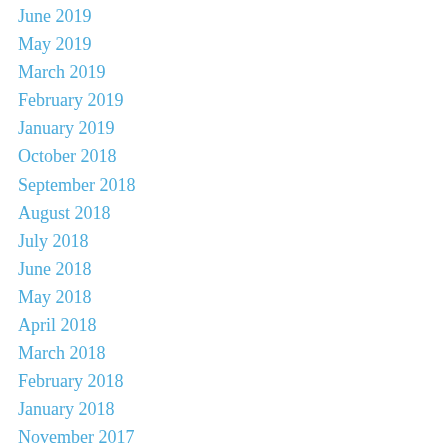June 2019
May 2019
March 2019
February 2019
January 2019
October 2018
September 2018
August 2018
July 2018
June 2018
May 2018
April 2018
March 2018
February 2018
January 2018
November 2017
August 2017
July 2017
April 2017
February 2017